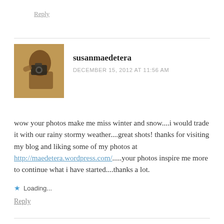Reply
[Figure (photo): Avatar photo of susanmaedetera, a person photographing with a camera, warm toned image]
susanmaedetera
DECEMBER 15, 2012 AT 11:56 AM
wow your photos make me miss winter and snow....i would trade it with our rainy stormy weather....great shots! thanks for visiting my blog and liking some of my photos at http://maedetera.wordpress.com/.....your photos inspire me more to continue what i have started....thanks a lot.
Loading...
Reply